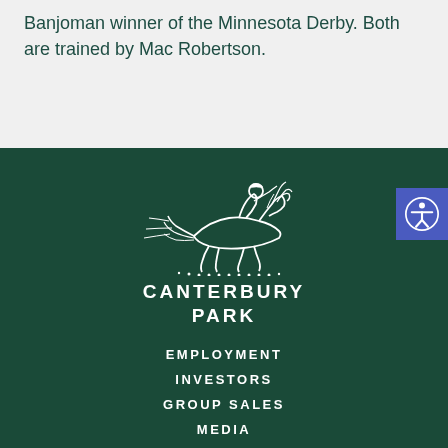Banjoman winner of the Minnesota Derby. Both are trained by Mac Robertson.
[Figure (logo): Canterbury Park logo: white line-art illustration of a jockey riding a galloping horse with motion lines and dots, above the text CANTERBURY PARK in white bold capital letters on dark green background]
EMPLOYMENT
INVESTORS
GROUP SALES
MEDIA
HORSEPERSON RESOURCES